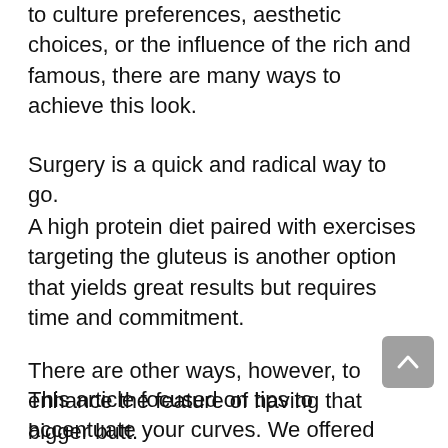to culture preferences, aesthetic choices, or the influence of the rich and famous, there are many ways to achieve this look.
Surgery is a quick and radical way to go.
A high protein diet paired with exercises targeting the gluteus is another option that yields great results but requires time and commitment.
There are other ways, however, to enhance the feature of having that bigger butt.
This article focused on tips to accentuate your curves. We offered some interesting